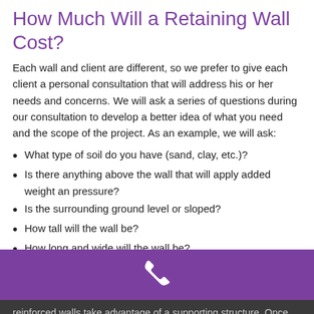How Much Will a Retaining Wall Cost?
Each wall and client are different, so we prefer to give each client a personal consultation that will address his or her needs and concerns. We will ask a series of questions during our consultation to develop a better idea of what you need and the scope of the project. As an example, we will ask:
What type of soil do you have (sand, clay, etc.)?
Is there anything above the wall that will apply added weight an pressure?
Is the surrounding ground level or sloped?
How tall will the wall be?
How long and wide will the wall be?
[Figure (infographic): Purple bar with white phone icon]
reinforced walls take advantage of a supporting structure. Once we understand the (623) 910-4484 quote you a fair